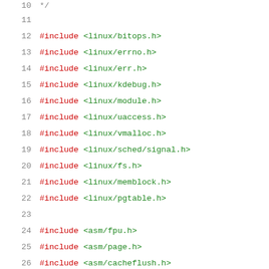10   */
11
12   #include <linux/bitops.h>
13   #include <linux/errno.h>
14   #include <linux/err.h>
15   #include <linux/kdebug.h>
16   #include <linux/module.h>
17   #include <linux/uaccess.h>
18   #include <linux/vmalloc.h>
19   #include <linux/sched/signal.h>
20   #include <linux/fs.h>
21   #include <linux/memblock.h>
22   #include <linux/pgtable.h>
23
24   #include <asm/fpu.h>
25   #include <asm/page.h>
26   #include <asm/cacheflush.h>
27   #include <asm/mmu_context.h>
28   #include <asm/pgalloc.h>
29
30   #include <linux/kvm_host.h>
31